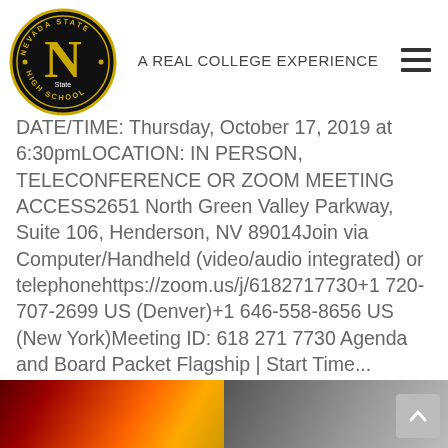[Figure (logo): Nevada State High School circular logo with yellow N on black background]
A REAL COLLEGE EXPERIENCE
DATE/TIME: Thursday, October 17, 2019 at 6:30pmLOCATION: IN PERSON, TELECONFERENCE OR ZOOM MEETING ACCESS2651 North Green Valley Parkway, Suite 106, Henderson, NV 89014Join via Computer/Handheld (video/audio integrated) or telephonehttps://zoom.us/j/6182717730+1 720-707-2699 US (Denver)+1 646-558-8656 US (New York)Meeting ID: 618 271 7730 Agenda and Board Packet Flagship | Start Time...
[Figure (photo): Bottom strip showing two images side by side, left appears to be a red/gold lit scene, right appears to be a grey/dark scene]